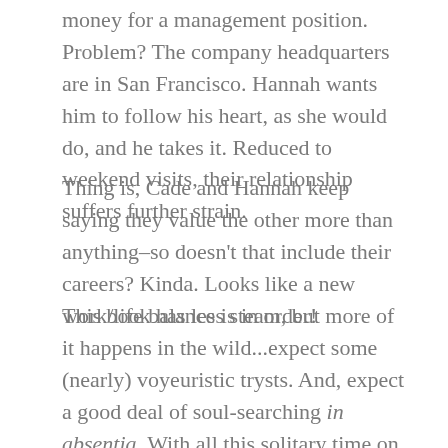money for a management position. Problem? The company headquarters are in San Francisco. Hannah wants him to follow his heart, as she would do, and he takes it. Reduced to weekend visits, their relationship suffers further strain.
Thing is, Cade and Hannah keep saying they value the other more than anything–so doesn't that include their careers? Kinda. Looks like a new work/life balance is in order!
This book has less steam, but more of it happens in the wild…expect some (nearly) voyeuristic trysts. And, expect a good deal of soul-searching in absentia. With all this solitary time on their hands, Cade and Hannah have a lot of space to figure out their real motivations. And, it ends in an HEA.